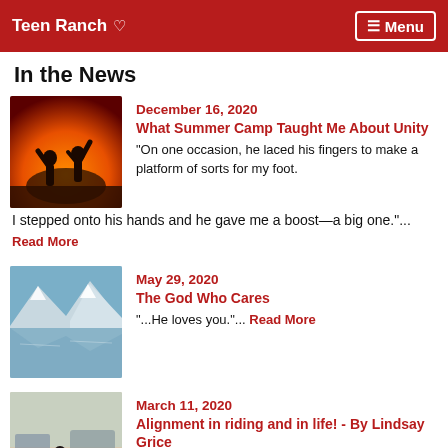Teen Ranch ♡  ☰ Menu
In the News
[Figure (photo): Silhouette of two people at sunset with arms raised against an orange sky]
December 16, 2020
What Summer Camp Taught Me About Unity
"On one occasion, he laced his fingers to make a platform of sorts for my foot. I stepped onto his hands and he gave me a boost—a big one."... Read More
[Figure (photo): Mountain lake with reflections of snow-capped peaks in calm water]
May 29, 2020
The God Who Cares
"...He loves you."... Read More
[Figure (photo): Person riding a horse with vehicles in background]
March 11, 2020
Alignment in riding and in life! - By Lindsay Grice